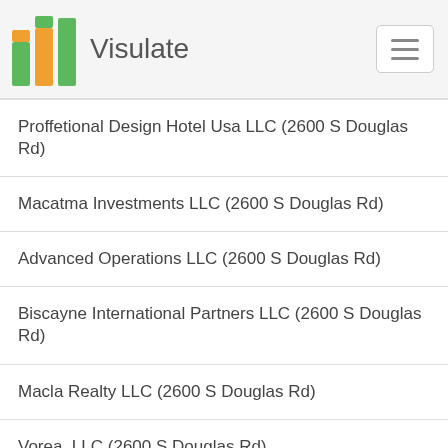Visulate
Proffetional Design Hotel Usa LLC (2600 S Douglas Rd)
Macatma Investments LLC (2600 S Douglas Rd)
Advanced Operations LLC (2600 S Douglas Rd)
Biscayne International Partners LLC (2600 S Douglas Rd)
Macla Realty LLC (2600 S Douglas Rd)
Vorea, LLC (2600 S Douglas Rd)
Innova Disenos LLC (2600 S Douglas Rd)
Sevcav Investments LLC (2600 S Douglas Rd)
Parkview International, LLC (2600 S Douglas Rd)
5m Realty LLC (2600 S Douglas Rd)